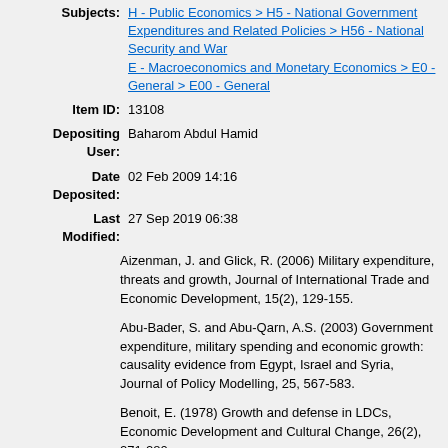Subjects: H - Public Economics > H5 - National Government Expenditures and Related Policies > H56 - National Security and War; E - Macroeconomics and Monetary Economics > E0 - General > E00 - General
Item ID: 13108
Depositing User: Baharom Abdul Hamid
Date Deposited: 02 Feb 2009 14:16
Last Modified: 27 Sep 2019 06:38
Aizenman, J. and Glick, R. (2006) Military expenditure, threats and growth, Journal of International Trade and Economic Development, 15(2), 129-155.
Abu-Bader, S. and Abu-Qarn, A.S. (2003) Government expenditure, military spending and economic growth: causality evidence from Egypt, Israel and Syria, Journal of Policy Modelling, 25, 567-583.
Benoit, E. (1978) Growth and defense in LDCs, Economic Development and Cultural Change, 26(2), 271-280.
Biswas, B. and Ram, R. (1986) Military expenditure and economic growth in LDCs: an augmented model and further evidence, Economic Development and Cultural Change, 34(2), 361-372.